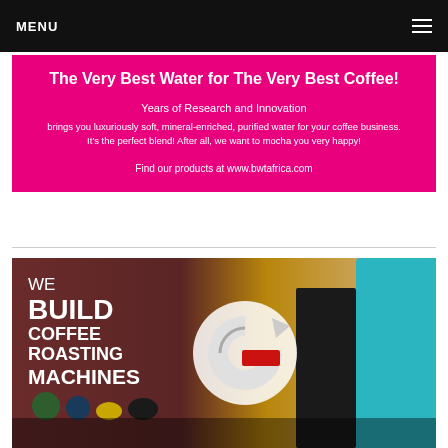MENU
[Figure (infographic): Pink banner advertisement for BWT Africa water products. Title: 'The Very Best Water for The Very Best Coffee!' Subheading: 'Years of Research and Innovation'. Body text: 'brings you luxuriously soft, mineral-enriched, purified water for your coffee business. It's the perfect blend! After all, we want to mocha you very happy!' URL: 'Find our products at www.bwtafrica.com']
[Figure (photo): Advertisement showing coffee roasting machines in a factory setting with text overlay reading 'WE BUILD COFFEE ROASTING MACHINES' and a circular logo/icon overlay.]